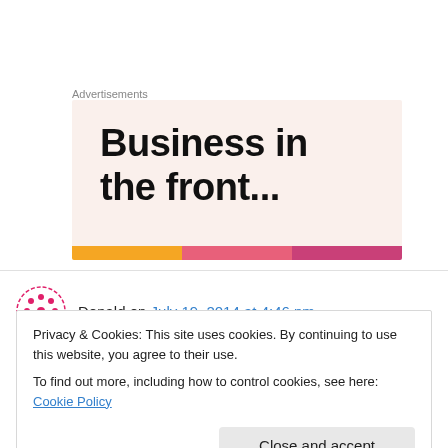Advertisements
[Figure (illustration): Advertisement banner with text 'Business in the front...' on a light pink/peach background with colorful stripe at bottom]
Donald on July 19, 2014 at 4:46 pm
The way you describe him, as a black-hole,
Privacy & Cookies: This site uses cookies. By continuing to use this website, you agree to their use.
To find out more, including how to control cookies, see here: Cookie Policy
Close and accept
fair comp for his future dollson.